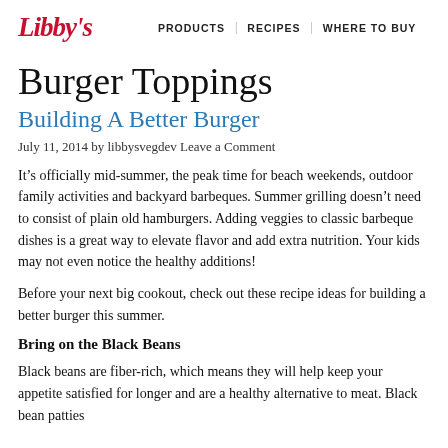Libby's | PRODUCTS | RECIPES | WHERE TO BUY
Burger Toppings
Building A Better Burger
July 11, 2014 by libbysvegdev Leave a Comment
It’s officially mid-summer, the peak time for beach weekends, outdoor family activities and backyard barbeques. Summer grilling doesn’t need to consist of plain old hamburgers. Adding veggies to classic barbeque dishes is a great way to elevate flavor and add extra nutrition. Your kids may not even notice the healthy additions!
Before your next big cookout, check out these recipe ideas for building a better burger this summer.
Bring on the Black Beans
Black beans are fiber-rich, which means they will help keep your appetite satisfied for longer and are a healthy alternative to meat. Black bean patties are a favorite among vegetarians and will rise in dishes